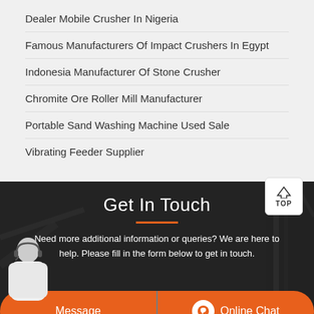Dealer Mobile Crusher In Nigeria
Famous Manufacturers Of Impact Crushers In Egypt
Indonesia Manufacturer Of Stone Crusher
Chromite Ore Roller Mill Manufacturer
Portable Sand Washing Machine Used Sale
Vibrating Feeder Supplier
Get In Touch
Need more additional information or queries? We are here to help. Please fill in the form below to get in touch.
Message
Online Chat